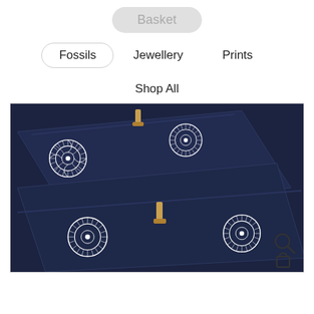Basket
Fossils
Jewellery
Prints
Shop All
[Figure (photo): Two dark navy blue zippered pouches/bags with white ammonite fossil print illustrations, laid overlapping on a white background. Gold/brass zipper pulls visible.]